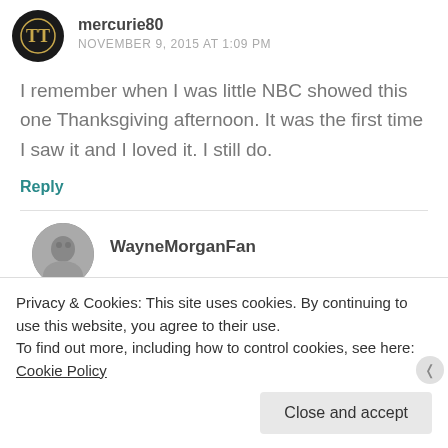[Figure (logo): Circular black avatar with stylized TT logo in gold]
mercurie80
NOVEMBER 9, 2015 AT 1:09 PM
I remember when I was little NBC showed this one Thanksgiving afternoon. It was the first time I saw it and I loved it. I still do.
Reply
[Figure (photo): Circular black and white photo avatar for WayneMorganFan]
WayneMorganFan
Privacy & Cookies: This site uses cookies. By continuing to use this website, you agree to their use.
To find out more, including how to control cookies, see here: Cookie Policy
Close and accept